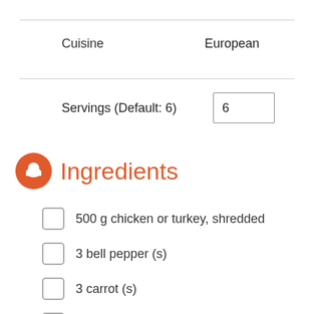Cuisine	European
Servings (Default: 6)	6
Ingredients
500 g chicken or turkey, shredded
3 bell pepper (s)
3 carrot (s)
150 g peanuts
1 can corn
1 head broccoli